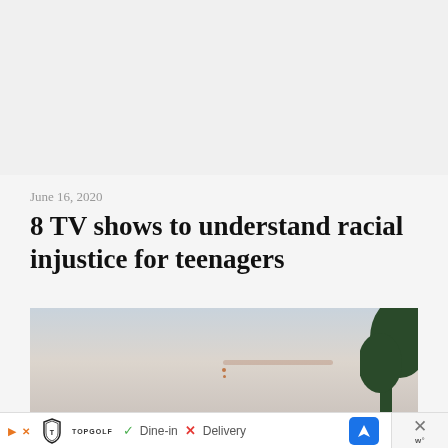June 16, 2020
8 TV shows to understand racial injustice for teenagers
[Figure (photo): Outdoor photo with light sky and blurred tree on the right side]
[Figure (other): Advertisement bar: Topgolf logo with play/X icons, checkmark Dine-in, X Delivery, blue navigation arrow button, and close button]